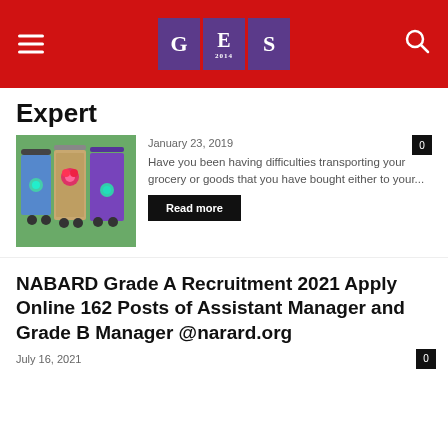GES
Expert
[Figure (photo): Colorful decorated shopping trolleys/carts with floral designs in red, blue, purple]
January 23, 2019
Have you been having difficulties transporting your grocery or goods that you have bought either to your...
Read more
NABARD Grade A Recruitment 2021 Apply Online 162 Posts of Assistant Manager and Grade B Manager @narard.org
July 16, 2021